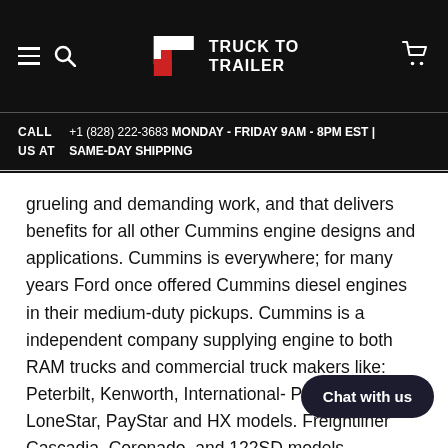TRUCK TO TRAILER
CALL US AT  +1 (828) 222-3683 MONDAY - FRIDAY 9AM - 8PM EST | SAME-DAY SHIPPING
grueling and demanding work, and that delivers benefits for all other Cummins engine designs and applications. Cummins is everywhere; for many years Ford once offered Cummins diesel engines in their medium-duty pickups. Cummins is a independent company supplying engine to both RAM trucks and commercial truck makers like: Peterbilt, Kenworth, International- ProStar, 9900i, LoneStar, PayStar and HX models. Freightliner Cascadia, Coronado, and 122SD models. Cummins is also in tons of heavy machinery, industrial generators, smal... and practically anywhere where the... reliable diesel engine.